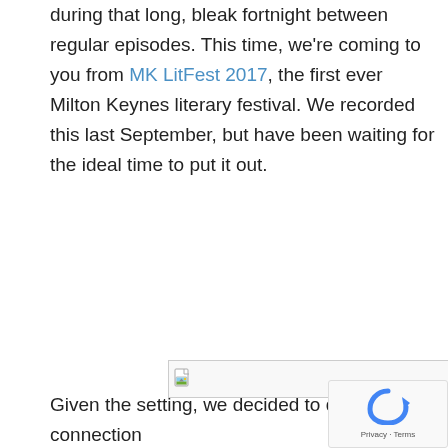during that long, bleak fortnight between regular episodes. This time, we're coming to you from MK LitFest 2017, the first ever Milton Keynes literary festival. We recorded this last September, but have been waiting for the ideal time to put it out.
[Figure (other): Broken/unloaded image placeholder with small image icon in top-left corner]
Given the setting, we decided to discuss the connection between fiction and RPGs. The theme for the evening was